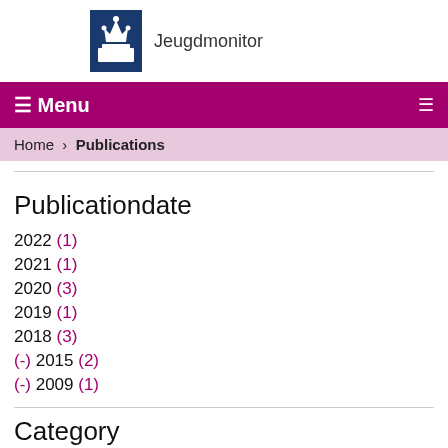Jeugdmonitor
☰ Menu
Home › Publications
Publicationdate
2022 (1)
2021 (1)
2020 (3)
2019 (1)
2018 (3)
(-) 2015 (2)
(-) 2009 (1)
Category